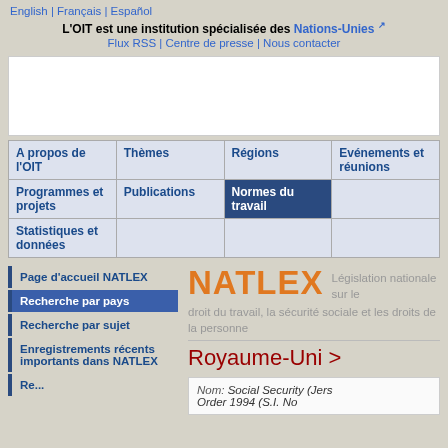English | Français | Español
L'OIT est une institution spécialisée des Nations-Unies
Flux RSS | Centre de presse | Nous contacter
| A propos de l'OIT | Thèmes | Régions | Evénements et réunions |
| --- | --- | --- | --- |
| Programmes et projets | Publications | Normes du travail |  |
| Statistiques et données |  |  |  |
NATLEX
Législation nationale sur le droit du travail, la sécurité sociale et les droits de la personne
Royaume-Uni >
Page d'accueil NATLEX
Recherche par pays
Recherche par sujet
Enregistrements récents importants dans NATLEX
Nom: Social Security (Jersey) Order 1994 (S.I. No...